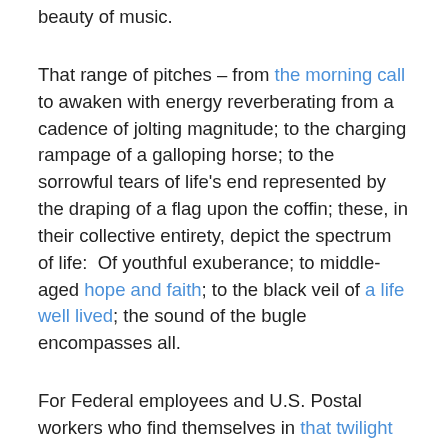beauty of music.
That range of pitches – from the morning call to awaken with energy reverberating from a cadence of jolting magnitude; to the charging rampage of a galloping horse; to the sorrowful tears of life's end represented by the draping of a flag upon the coffin; these, in their collective entirety, depict the spectrum of life:  Of youthful exuberance; to middle-aged hope and faith; to the black veil of a life well lived; the sound of the bugle encompasses all.
For Federal employees and U.S. Postal workers who find themselves in that twilight of life's stages – somewhere beyond the youthful enthusiasm, but well before the illumination reflected by the funeral pyre – perhaps it is the sound of the bugle in the last stages of reveille, before the